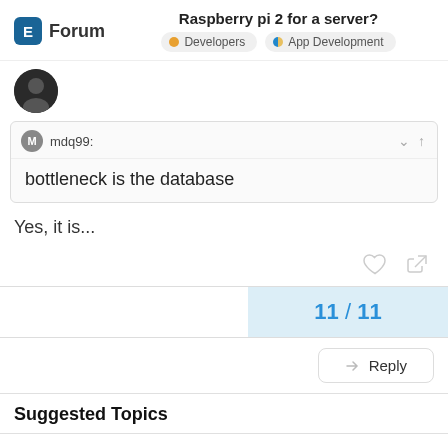Raspberry pi 2 for a server? | Forum | Developers | App Development
mdq99:
bottleneck is the database
Yes, it is...
11 / 11
Reply
Suggested Topics
Is there a “best practice” doc that defines how to prepare an ERPNext app for public distribution?